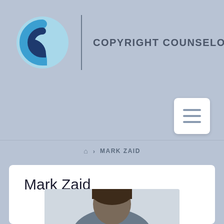[Figure (logo): Copyright Counselors LLC logo with two concentric C letters in blue circles and company name]
[Figure (other): Hamburger menu button (three horizontal lines) on white rounded rectangle]
🏠 > MARK ZAID
Mark Zaid
[Figure (photo): Portrait photo of Mark Zaid, showing top of head with dark hair]